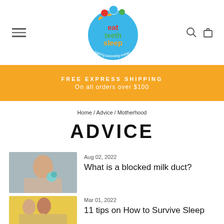[Figure (logo): Eat Teeth Sleep logo - colorful circular logo with dots and text reading 'eat teeth sleep making parenting easier']
FREE EXPRESS SHIPPING
On all orders over $100
Home / Advice / Motherhood
ADVICE
Aug 02, 2022
What is a blocked milk duct?
Mar 01, 2022
11 tips on How to Survive Sleep